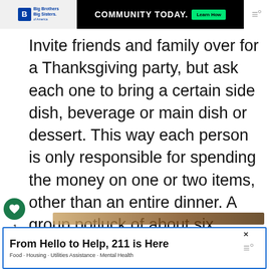[Figure (screenshot): Top banner advertisement: Big Brothers Big Sisters logo on left, black banner with 'COMMUNITY TODAY.' text and green 'Learn How' button, table of contents icon on right]
Invite friends and family over for a Thanksgiving party, but ask each one to bring a certain side dish, beverage or main dish or dessert. This way each person is only responsible for spending the money on one or two items, other than an entire dinner. A group potluck of about six people will cover the entire Thanksgiving meal, from main [dish] to wine to pumpkin pie.
[Figure (screenshot): Bottom advertisement banner: 'From Hello to Help, 211 is Here' with subtitle 'Food · Housing · Utilities Assistance · Mental Health', close button X, and table of contents icon on right]